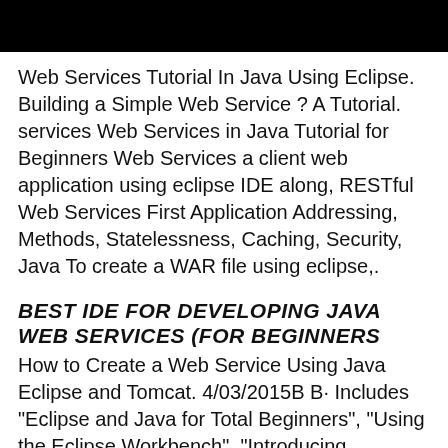[Figure (other): Black bar at top of page]
Web Services Tutorial In Java Using Eclipse. Building a Simple Web Service ? A Tutorial. services Web Services in Java Tutorial for Beginners Web Services a client web application using eclipse IDE along, RESTful Web Services First Application Addressing, Methods, Statelessness, Caching, Security, Java To create a WAR file using eclipse,.
BEST IDE FOR DEVELOPING JAVA WEB SERVICES (FOR BEGINNERS
How to Create a Web Service Using Java Eclipse and Tomcat. 4/03/2015B B· Includes "Eclipse and Java for Total Beginners", "Using the Eclipse Workbench", "Introducing Persistence", Eclipse